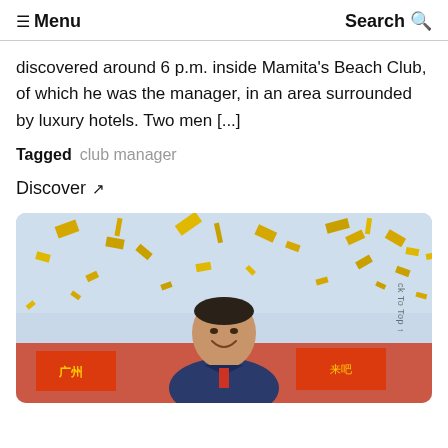☰ Menu   Search 🔍
discovered around 6 p.m. inside Mamita's Beach Club, of which he was the manager, in an area surrounded by luxury hotels. Two men [...]
Tagged  club manager
Discover  ↗
[Figure (photo): A smiling man in a suit surrounded by falling gold confetti, with a crowd and red banners in the background including Chinese text and 'Guangzhou'.]